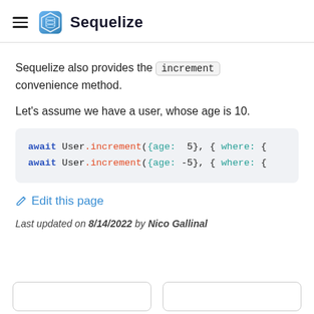Sequelize
Sequelize also provides the increment convenience method.
Let's assume we have a user, whose age is 10.
[Figure (screenshot): Code block showing two lines: await User.increment({age: 5}, { where: { and await User.increment({age: -5}, { where: {]
✏ Edit this page
Last updated on 8/14/2022 by Nico Gallinal